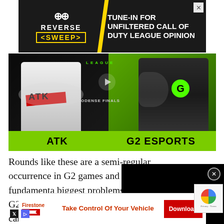[Figure (screenshot): Advertisement banner for 'Reverse Sweep' podcast/show with text 'TUNE-IN FOR UNFILTERED CALL OF DUTY LEAGUE OPINION' on dark background with yellow accents]
[Figure (screenshot): Esports match thumbnail showing ATK vs G2 Esports players at Odense Finals with green team name bars]
Rounds like these are a semi-regular occurrence in G2 games and is why fundamenta... biggest problems facing G2. W... bit too shallow to contend wi... can't expand it without first a... funda... fix the
[Figure (screenshot): Video player overlay with black background and white loading spinner]
[Figure (screenshot): Firestone advertisement: 'Take Control Of Your Vehicle' with Download button]